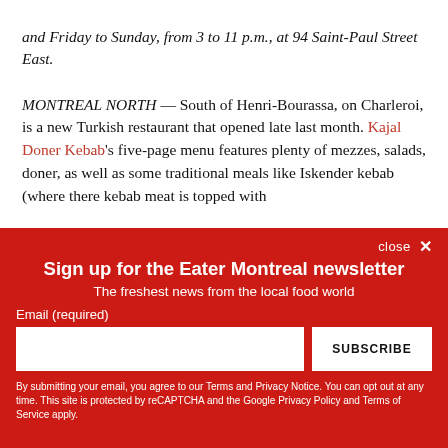and Friday to Sunday, from 3 to 11 p.m., at 94 Saint-Paul Street East.
MONTREAL NORTH — South of Henri-Bourassa, on Charleroi, is a new Turkish restaurant that opened late last month. Kajal Doner Kebab's five-page menu features plenty of mezzes, salads, doner, as well as some traditional meals like Iskender kebab (where there kebab meat is topped with
close ✕
Sign up for the Eater Montreal newsletter
The freshest news from the local food world
Email (required)
SUBSCRIBE
By submitting your email, you agree to our Terms and Privacy Notice. You can opt out at any time. This site is protected by reCAPTCHA and the Google Privacy Policy and Terms of Service apply.